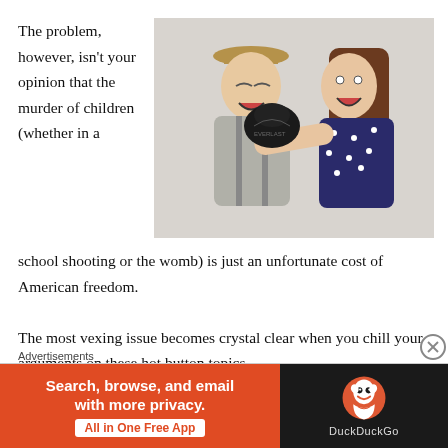The problem, however, isn't your opinion that the murder of children (whether in a school shooting or the womb) is just an unfortunate cost of American freedom.
[Figure (photo): A woman wearing a dark polka-dot dress punching a man in a hat with a boxing glove, both with exaggerated expressions, on a light gray background.]
The most vexing issue becomes crystal clear when you chill your arguments on these hot button topics,
(partially visible, cut off at bottom)
Advertisements
[Figure (screenshot): DuckDuckGo advertisement banner: orange left panel reading 'Search, browse, and email with more privacy. All in One Free App' and black right panel with DuckDuckGo logo and text.]